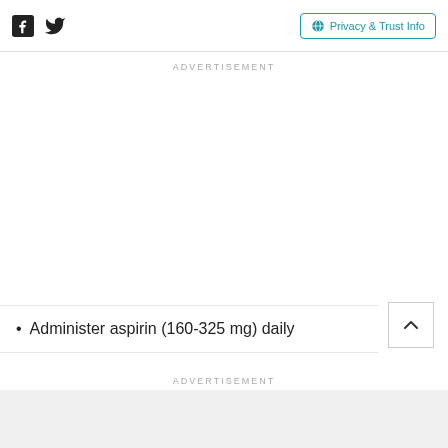Facebook Twitter | Privacy & Trust Info
ADVERTISEMENT
Administer aspirin (160-325 mg) daily
ADVERTISEMENT